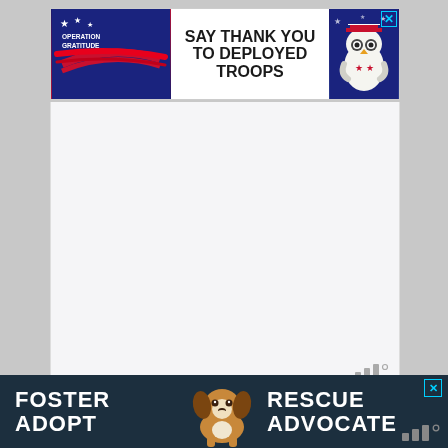[Figure (infographic): Operation Gratitude advertisement banner: 'SAY THANK YOU TO DEPLOYED TROOPS' with patriotic logo on left and owl mascot in American flag colors on right. Close button (X) in top right corner.]
[Figure (other): Large blank/white content area, likely a placeholder for embedded media or article content. Small watermark logo (three bars with degree symbol) in bottom right corner.]
[Figure (infographic): Bottom banner advertisement with dark teal background: 'FOSTER ADOPT' on left, dog photo in center, 'RESCUE ADVOCATE' on right. Close button and small watermark logo visible.]